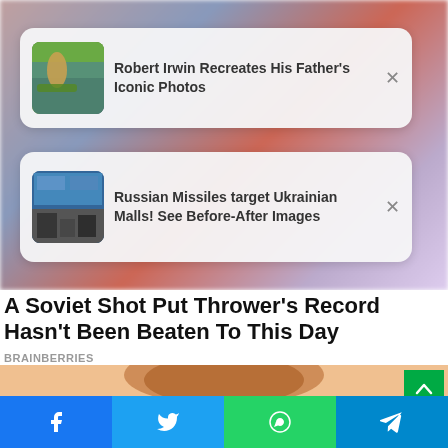[Figure (screenshot): Blurred background photo of a sports athlete / person in red shirt]
Robert Irwin Recreates His Father's Iconic Photos
Russian Missiles target Ukrainian Malls! See Before-After Images
A Soviet Shot Put Thrower's Record Hasn't Been Beaten To This Day
BRAINBERRIES
[Figure (photo): Photo of a person's head with headphones, peach/skin tone background]
[Figure (screenshot): Social share bar with Facebook, Twitter, WhatsApp, Telegram icons]